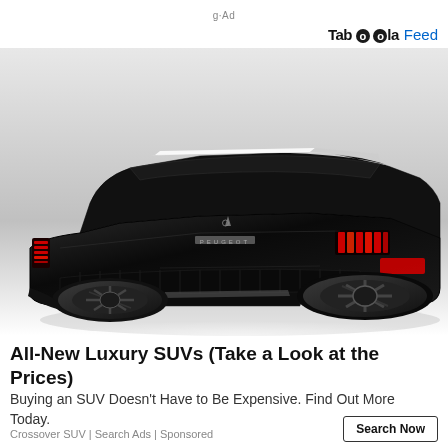g·Ad
Taboola Feed
[Figure (photo): Rear three-quarter view of a black Peugeot concept SUV with dramatic styling, red accent lighting, large alloy wheels, on a white reflective surface.]
All-New Luxury SUVs (Take a Look at the Prices)
Buying an SUV Doesn't Have to Be Expensive. Find Out More Today.
Crossover SUV | Search Ads | Sponsored
Search Now